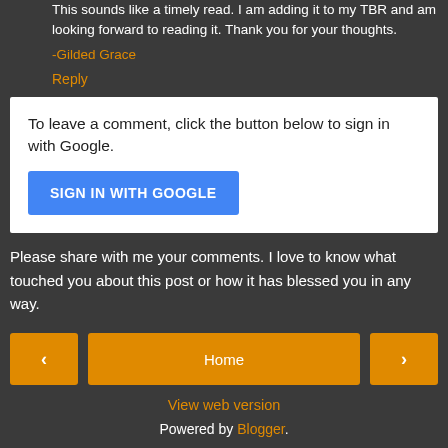This sounds like a timely read. I am adding it to my TBR and am looking forward to reading it. Thank you for your thoughts.
-Gilded Grace
Reply
To leave a comment, click the button below to sign in with Google.
SIGN IN WITH GOOGLE
Please share with me your comments. I love to know what touched you about this post or how it has blessed you in any way.
Home
View web version
Powered by Blogger.